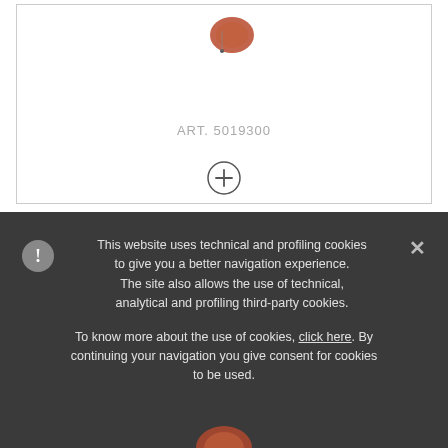[Figure (photo): Product image of a food item (reddish/brown) partially visible at top of product card]
ART. 5019300
[Figure (other): Plus button circle icon for adding item]
This website uses technical and profiling cookies to give you a better navigation experience. The site also allows the use of technical, analytical and profiling third-party cookies.

To know more about the use of cookies, click here. By continuing your navigation you give consent for cookies to be used.
[Figure (photo): Partially visible product image at bottom of cookie banner]